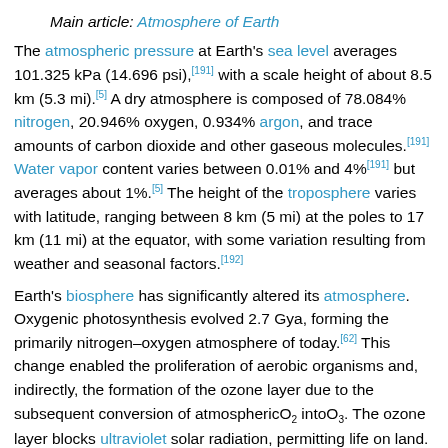Main article: Atmosphere of Earth
The atmospheric pressure at Earth's sea level averages 101.325 kPa (14.696 psi),[191] with a scale height of about 8.5 km (5.3 mi).[5] A dry atmosphere is composed of 78.084% nitrogen, 20.946% oxygen, 0.934% argon, and trace amounts of carbon dioxide and other gaseous molecules.[191] Water vapor content varies between 0.01% and 4%[191] but averages about 1%.[5] The height of the troposphere varies with latitude, ranging between 8 km (5 mi) at the poles to 17 km (11 mi) at the equator, with some variation resulting from weather and seasonal factors.[192]
Earth's biosphere has significantly altered its atmosphere. Oxygenic photosynthesis evolved 2.7 Gya, forming the primarily nitrogen–oxygen atmosphere of today.[62] This change enabled the proliferation of aerobic organisms and, indirectly, the formation of the ozone layer due to the subsequent conversion of atmospheric O2 into O3. The ozone layer blocks ultraviolet solar radiation, permitting life on land.[193] Other